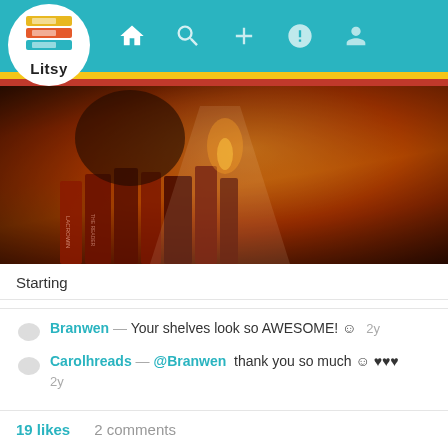[Figure (screenshot): Litsy app navigation bar with logo, home, search, add, activity, and profile icons on teal background]
[Figure (photo): Halloween-themed bookshelf with candles, jack-o-lantern, and warm orange lighting]
Starting
Branwen — Your shelves look so AWESOME! ☺  2y
Carolhreads — @Branwen thank you so much ☺ ♥♥♥
2y
19 likes    2 comments